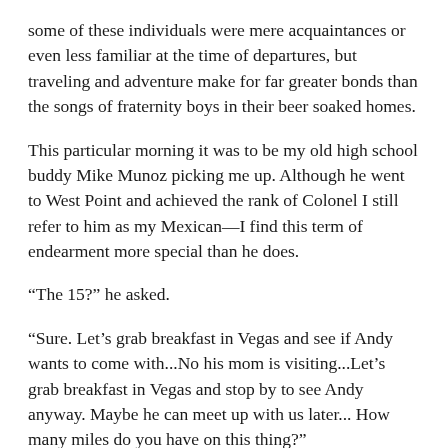some of these individuals were mere acquaintances or even less familiar at the time of departures, but traveling and adventure make for far greater bonds than the songs of fraternity boys in their beer soaked homes.
This particular morning it was to be my old high school buddy Mike Munoz picking me up. Although he went to West Point and achieved the rank of Colonel I still refer to him as my Mexican—I find this term of endearment more special than he does.
“The 15?” he asked.
“Sure. Let’s grab breakfast in Vegas and see if Andy wants to come with...No his mom is visiting...Let’s grab breakfast in Vegas and stop by to see Andy anyway. Maybe he can meet up with us later... How many miles do you have on this thing?”
“One hundred and eighty-six thousand. Where do you want to